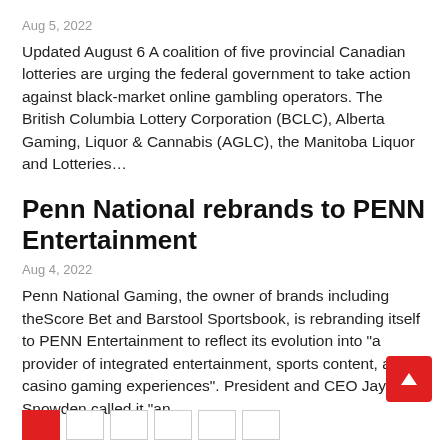Aug 5, 2022
Updated August 6 A coalition of five provincial Canadian lotteries are urging the federal government to take action against black-market online gambling operators. The British Columbia Lottery Corporation (BCLC), Alberta Gaming, Liquor & Cannabis (AGLC), the Manitoba Liquor and Lotteries…
Penn National rebrands to PENN Entertainment
Aug 4, 2022
Penn National Gaming, the owner of brands including theScore Bet and Barstool Sportsbook, is rebranding itself to PENN Entertainment to reflect its evolution into "a provider of integrated entertainment, sports content, and casino gaming experiences". President and CEO Jay Snowden called it "an…